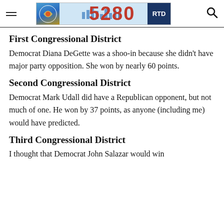5280
First Congressional District
Democrat Diana DeGette was a shoo-in because she didn't have major party opposition. She won by nearly 60 points.
Second Congressional District
Democrat Mark Udall did have a Republican opponent, but not much of one. He won by 37 points, as anyone (including me) would have predicted.
Third Congressional District
I thought that Democrat John Salazar would win